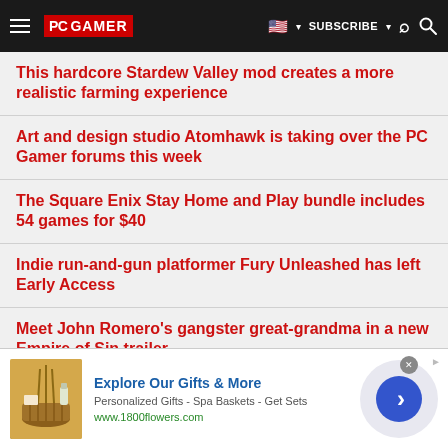PC GAMER | SUBSCRIBE
This hardcore Stardew Valley mod creates a more realistic farming experience
Art and design studio Atomhawk is taking over the PC Gamer forums this week
The Square Enix Stay Home and Play bundle includes 54 games for $40
Indie run-and-gun platformer Fury Unleashed has left Early Access
Meet John Romero's gangster great-grandma in a new Empire of Sin trailer
Five new Steam games you probably missed (May 11, 2020)
[Figure (other): Advertisement banner: Explore Our Gifts & More - Personalized Gifts - Spa Baskets - Get Sets - www.1800flowers.com]